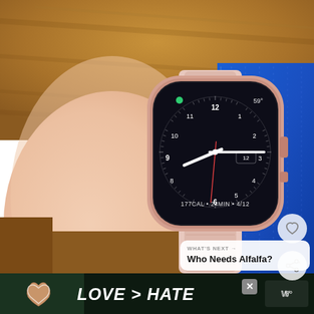[Figure (photo): Close-up photo of a wrist wearing an Apple Watch (rose gold aluminum case with light pink sport band) showing the analog watch face with the time approximately 8:15, a green dot (heart rate sensor active), temperature 59°, and fitness data showing 177CAL • 24MIN • 4/12. The wrist is against a wooden surface and blue athletic fabric (likely workout clothing) is visible on the right.]
[Figure (other): Heart/like button (gray circle with heart outline icon) overlaid on the photo]
[Figure (other): Share button (gray circle with share icon) overlaid on the photo]
WHAT'S NEXT → Who Needs Alfalfa?
[Figure (photo): Advertisement banner at the bottom: dark background with hands making a heart shape on the left, large white bold italic text reading 'LOVE > HATE', a close/X button, and a brand logo (Wear OS / Mobvoi style) on the right.]